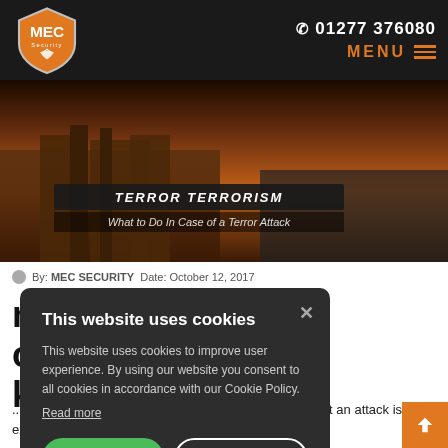MEC Security — 01277 376080 — MENU
[Figure (photo): Hero image of Westminster/London street at sunset with overlay text 'What to Do In Case of a Terror Attack']
By: MEC SECURITY  Date: October 12, 2017
What to Do in Case of a Terror Attack
This website uses cookies

This website uses cookies to improve user experience. By using our website you consent to all cookies in accordance with our Cookie Policy.

Read more

I AGREE    I DISAGREE
...switching ...k is highly likely) and 'critical' (means that an attack is expected